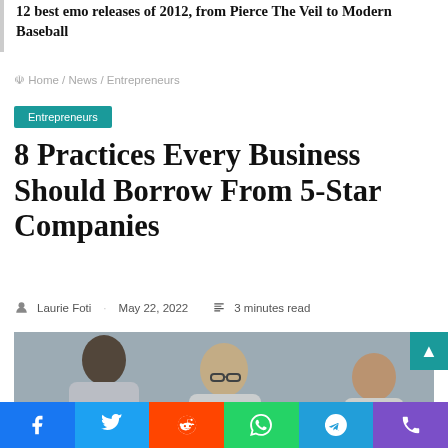12 best emo releases of 2012, from Pierce The Veil to Modern Baseball
Home / News / Entrepreneurs
Entrepreneurs
8 Practices Every Business Should Borrow From 5-Star Companies
Laurie Foti · May 22, 2022 · 3 minutes read
[Figure (photo): Photo of business professionals in a meeting or discussion setting, blurred background, three people visible.]